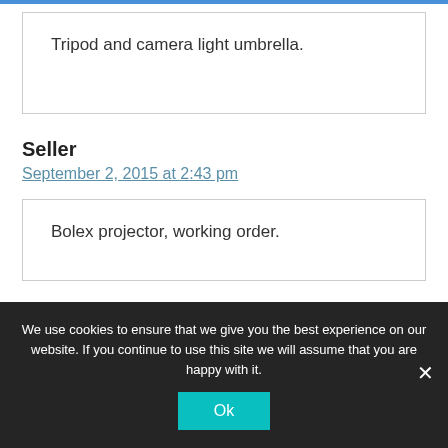Tripod and camera light umbrella.
Seller
September 2, 2015 at 2:43 pm
Bolex projector, working order.
We use cookies to ensure that we give you the best experience on our website. If you continue to use this site we will assume that you are happy with it.